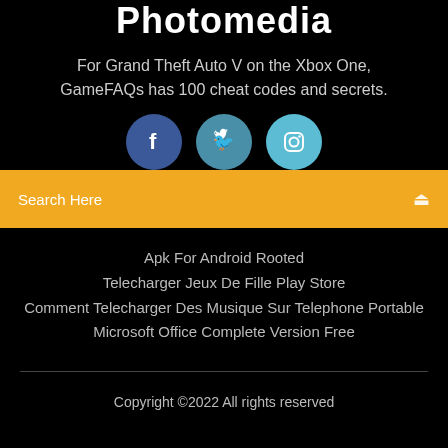Photomedia
For Grand Theft Auto V on the Xbox One, GameFAQs has 100 cheat codes and secrets.
[Figure (illustration): Three social media icons: Facebook (dark blue circle with 'f'), Twitter (teal circle with bird icon), Instagram (light blue circle with camera icon)]
Search Here
Apk For Android Rooted
Telecharger Jeux De Fille Play Store
Comment Telecharger Des Musique Sur Telephone Portable
Microsoft Office Complete Version Free
Copyright ©2022 All rights reserved